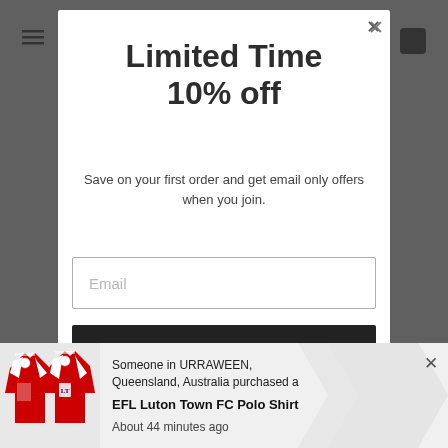Limited Time 10% off
Save on your first order and get email only offers when you join.
Email
[Figure (screenshot): Black submit button bar]
[Figure (photo): Red and white EFL Luton Town FC polo shirt displayed on two mannequins]
Someone in URRAWEEN, Queensland, Australia purchased a EFL Luton Town FC Polo Shirt About 44 minutes ago